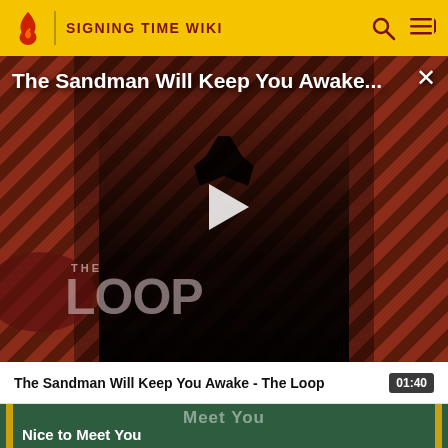SIGNING TIME WIKI
[Figure (screenshot): Video player showing 'The Sandman Will Keep You Awake...' with a figure in black cloak against diagonal red and black striped background, The Loop logo in bottom left, play button in center]
The Sandman Will Keep You Awake - The Loop
[Figure (screenshot): Thumbnail for next video 'Nice to Meet You' with green background and 'Meet You' text visible]